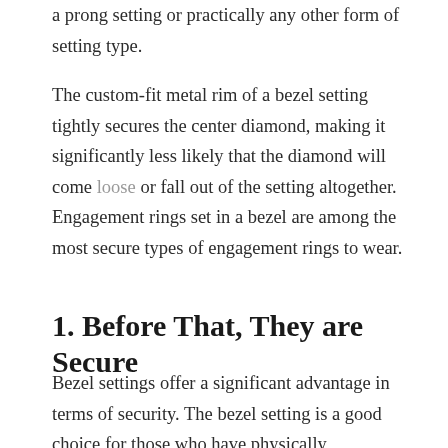a prong setting or practically any other form of setting type.
The custom-fit metal rim of a bezel setting tightly secures the center diamond, making it significantly less likely that the diamond will come loose or fall out of the setting altogether. Engagement rings set in a bezel are among the most secure types of engagement rings to wear.
1. Before That, They are Secure
Bezel settings offer a significant advantage in terms of security. The bezel setting is a good choice for those who have physically demanding occupations or lifestyles and